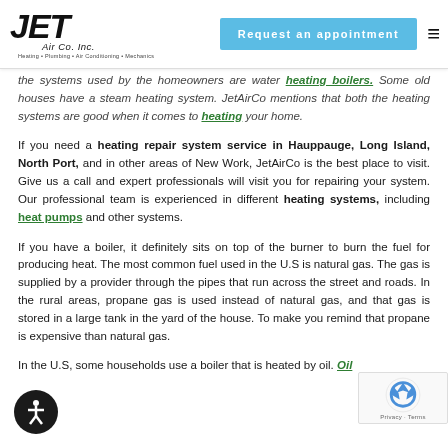JET Air Co. Inc. — Heating • Plumbing • Air Conditioning • Mechanics | Request an appointment
the systems used by the homeowners are water heating boilers. Some old houses have a steam heating system. JetAirCo mentions that both the heating systems are good when it comes to heating your home.
If you need a heating repair system service in Hauppauge, Long Island, North Port, and in other areas of New Work, JetAirCo is the best place to visit. Give us a call and expert professionals will visit you for repairing your system. Our professional team is experienced in different heating systems, including heat pumps and other systems.
If you have a boiler, it definitely sits on top of the burner to burn the fuel for producing heat. The most common fuel used in the U.S is natural gas. The gas is supplied by a provider through the pipes that run across the street and roads. In the rural areas, propane gas is used instead of natural gas, and that gas is stored in a large tank in the yard of the house. To make you remind that propane is expensive than natural gas.
In the U.S, some households use a boiler that is heated by oil. Oil